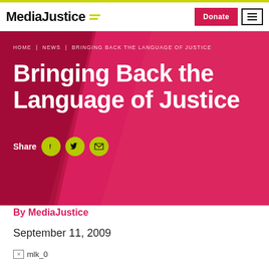MediaJustice
HOME | NEWS | BRINGING BACK THE LANGUAGE OF JUSTICE
Bringing Back the Language of Justice
Share
By MediaJustice
September 11, 2009
[Figure (photo): Broken image placeholder labeled mlk_0]